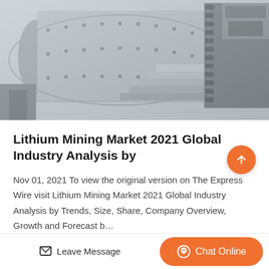[Figure (photo): Industrial mining equipment — large cylindrical ball mill with geared mechanism and metal components, shown in grayscale]
Lithium Mining Market 2021 Global Industry Analysis by
Nov 01, 2021 To view the original version on The Express Wire visit Lithium Mining Market 2021 Global Industry Analysis by Trends, Size, Share, Company Overview, Growth and Forecast b…